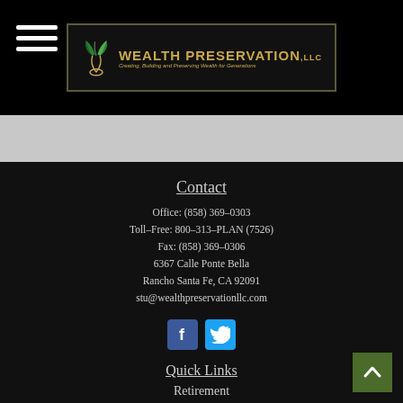[Figure (logo): Wealth Preservation LLC logo with green leaf graphic and gold text. Tagline: Creating, Building and Preserving Wealth for Generations]
Contact
Office: (858) 369-0303
Toll-Free: 800-313-PLAN (7526)
Fax: (858) 369-0306
6367 Calle Ponte Bella
Rancho Santa Fe, CA 92091
stu@wealthpreservationllc.com
[Figure (illustration): Facebook and Twitter social media icon buttons]
Quick Links
Retirement